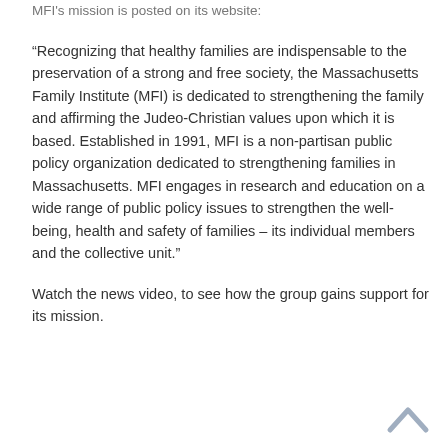MFI's mission is posted on its website:
“Recognizing that healthy families are indispensable to the preservation of a strong and free society, the Massachusetts Family Institute (MFI) is dedicated to strengthening the family and affirming the Judeo-Christian values upon which it is based. Established in 1991, MFI is a non-partisan public policy organization dedicated to strengthening families in Massachusetts. MFI engages in research and education on a wide range of public policy issues to strengthen the well-being, health and safety of families – its individual members and the collective unit.”
Watch the news video, to see how the group gains support for its mission.